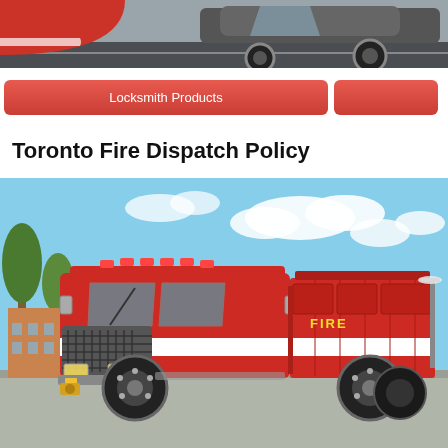[Figure (photo): Top banner showing a red and black car/vehicle scene with red accent on the left and a car wheel visible on the right, against a road background.]
Locksmith Products
Toronto Fire Dispatch Policy
[Figure (photo): Large red fire truck (pumper engine) parked in a lot with trees and blue sky with clouds in the background. The word FIRE is visible on the side of the truck.]